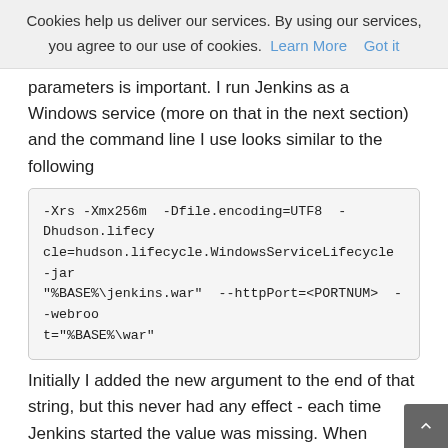Cookies help us deliver our services. By using our services, you agree to our use of cookies. Learn More  Got it
parameters is important. I run Jenkins as a Windows service (more on that in the next section) and the command line I use looks similar to the following
-Xrs -Xmx256m -Dfile.encoding=UTF8 -Dhudson.lifecycle=hudson.lifecycle.WindowsServiceLifecycle -jar "%BASE%\jenkins.war" --httpPort=<PORTNUM> --webroot="%BASE%\war"
Initially I added the new argument to the end of that string, but this never had any effect - each time Jenkins started the value was missing. When checking the System Information view I noted the parameter wasn't listed in the main System Properties table but was instead appended to the value of another property - sun.java.command. That was the point I realized ordering mattered and moved the argument to before the